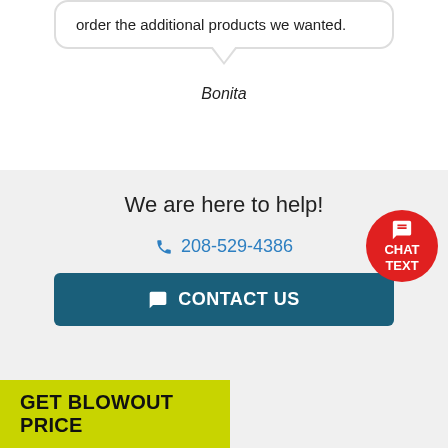order the additional products we wanted.
Bonita
We are here to help!
208-529-4386
CONTACT US
CHAT TEXT
GET BLOWOUT PRICE